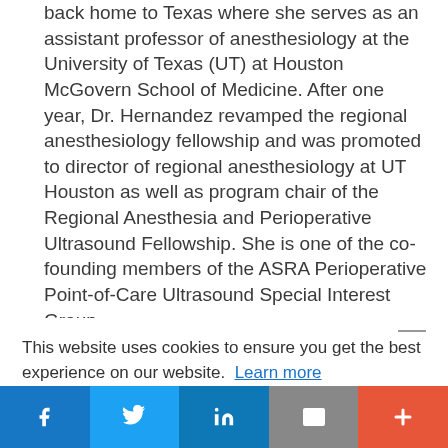back home to Texas where she serves as an assistant professor of anesthesiology at the University of Texas (UT) at Houston McGovern School of Medicine. After one year, Dr. Hernandez revamped the regional anesthesiology fellowship and was promoted to director of regional anesthesiology at UT Houston as well as program chair of the Regional Anesthesia and Perioperative Ultrasound Fellowship. She is one of the co-founding members of the ASRA Perioperative Point-of-Care Ultrasound Special Interest Group.
This website uses cookies to ensure you get the best experience on our website. Learn more
Got it!